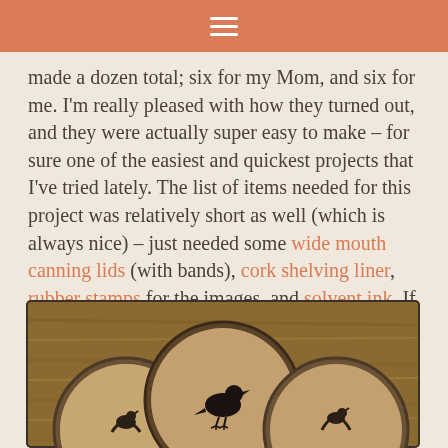≡
made a dozen total; six for my Mom, and six for me. I'm really pleased with how they turned out, and they were actually super easy to make – for sure one of the easiest and quickest projects that I've tried lately. The list of items needed for this project was relatively short as well (which is always nice) – just needed some wide mouth canning lids (with bands), cork shelving liner, rubber stamps for the images, and solvent ink. If you like these coasters and would like to try making them yourself, just contact me; I'd be happy to walk you through it. 🙂
[Figure (photo): Three round canning jar lids with cork inserts, each stamped with a bird silhouette image, arranged on a wooden surface. Three coasters visible - top center shows a standing crow/raven, bottom left shows a small bird, bottom right is partially visible.]